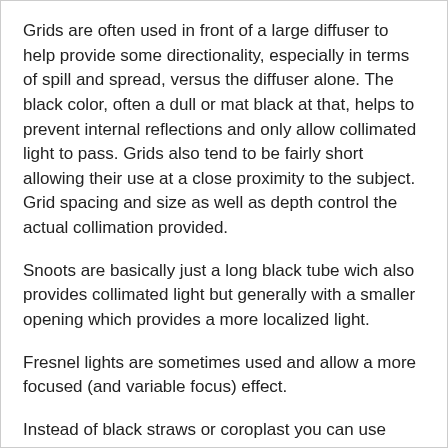Grids are often used in front of a large diffuser to help provide some directionality, especially in terms of spill and spread, versus the diffuser alone. The black color, often a dull or mat black at that, helps to prevent internal reflections and only allow collimated light to pass. Grids also tend to be fairly short allowing their use at a close proximity to the subject. Grid spacing and size as well as depth control the actual collimation provided.
Snoots are basically just a long black tube wich also provides collimated light but generally with a smaller opening which provides a more localized light.
Fresnel lights are sometimes used and allow a more focused (and variable focus) effect.
Instead of black straws or coroplast you can use corrugated cardboard, also painted black, to provide a similar grid design.
http://strobist.blogspot.com/2006/10/free-and-so-easy-diy-grid-spots-for.html